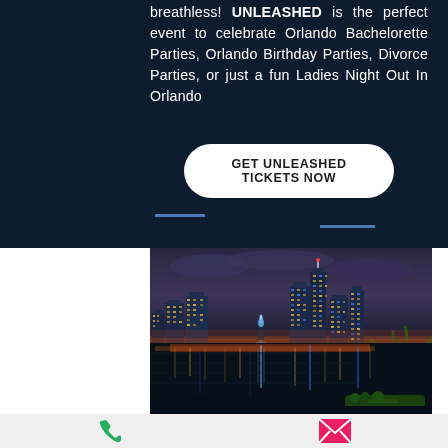breathless! UNLEASHED is the perfect event to celebrate Orlando Bachelorette Parties, Orlando Birthday Parties, Divorce Parties, or just a fun Ladies Night Out In Orlando
GET UNLEASHED TICKETS NOW
[Figure (photo): Night skyline of Orlando with city lights reflecting on a lake, palm trees on the right side, illuminated fountain visible in the water]